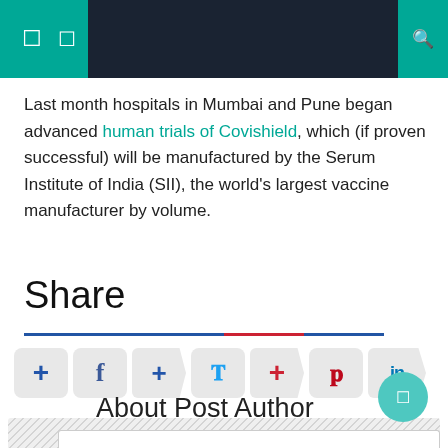Navigation header with menu icons and search
Last month hospitals in Mumbai and Pune began advanced human trials of Covishield, which (if proven successful) will be manufactured by the Serum Institute of India (SII), the world's largest vaccine manufacturer by volume.
Share
[Figure (other): Social sharing buttons row with icons for AddThis (blue cross), Facebook, AddThis plus, Twitter, red cross, Pinterest, and LinkedIn]
About Post Author